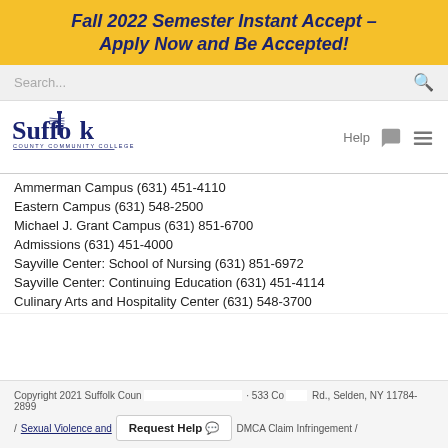Fall 2022 Semester Instant Accept – Apply Now and Be Accepted!
[Figure (logo): Suffolk County Community College logo with lighthouse icon]
Ammerman Campus (631) 451-4110
Eastern Campus (631) 548-2500
Michael J. Grant Campus (631) 851-6700
Admissions (631) 451-4000
Sayville Center: School of Nursing (631) 851-6972
Sayville Center: Continuing Education (631) 451-4114
Culinary Arts and Hospitality Center (631) 548-3700
Copyright 2021 Suffolk County Community College · 533 College Rd., Selden, NY 11784-2899 / Sexual Violence and … / DMCA Claim Infringement /